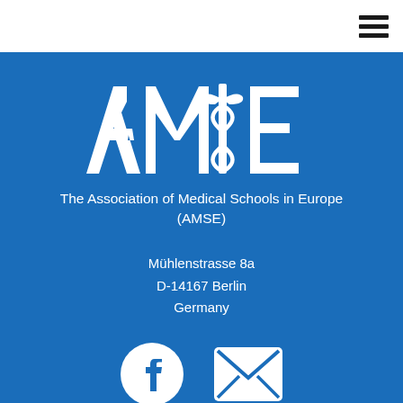[Figure (logo): AMSE logo with caduceus symbol in white on blue background]
The Association of Medical Schools in Europe (AMSE)
Mühlenstrasse 8a
D-14167 Berlin
Germany
[Figure (illustration): Facebook icon and email/envelope icon in white circles]